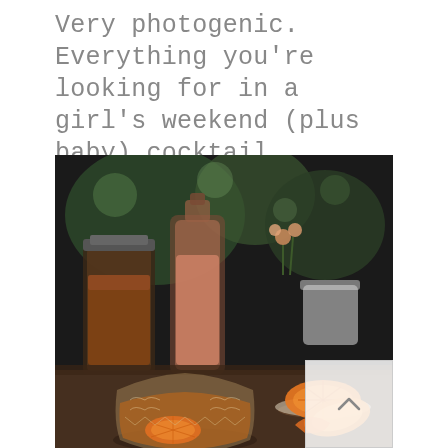Very photogenic. Everything you're looking for in a girl's weekend (plus baby) cocktail.
[Figure (photo): A styled cocktail photograph showing an etched crystal stemless glass containing an amber/orange drink garnished with an orange slice, set in front of bottles and a pitcher of a rosy-pink liquid, with orange slices on a plate to the right, all on a dark wooden surface with green foliage in the background.]